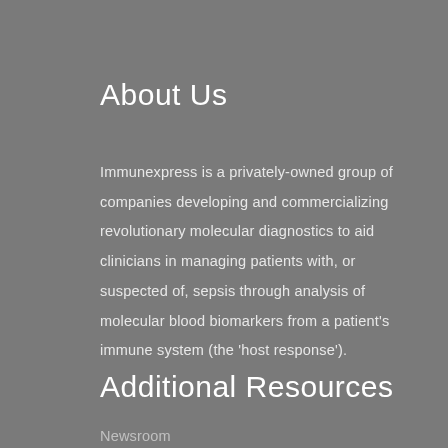About Us
Immunexpress is a privately-owned group of companies developing and commercializing revolutionary molecular diagnostics to aid clinicians in managing patients with, or suspected of, sepsis through analysis of molecular blood biomarkers from a patient's immune system (the 'host response').
Additional Resources
Newsroom